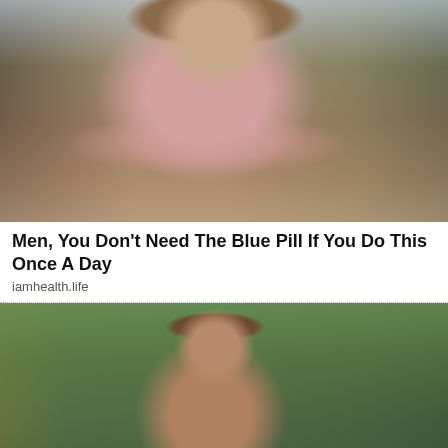[Figure (photo): Photo of a woman in a floral dress seated outdoors near a pool area]
Men, You Don't Need The Blue Pill If You Do This Once A Day
iamhealth.life
[Figure (photo): Photo of a shirtless muscular man with a mustache outdoors, with trees and a United States emblem visible in background]